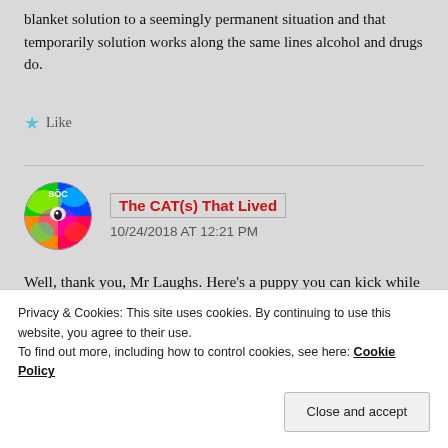blanket solution to a seemingly permanent situation and that temporarily solution works along the same lines alcohol and drugs do.
Like
[Figure (photo): Colorful psychedelic cat avatar for user 'The CAT(s) That Lived']
The CAT(s) That Lived
10/24/2018 AT 12:21 PM
Well, thank you, Mr Laughs. Here's a puppy you can kick while you wait. 😉
Privacy & Cookies: This site uses cookies. By continuing to use this website, you agree to their use.
To find out more, including how to control cookies, see here: Cookie Policy
Close and accept